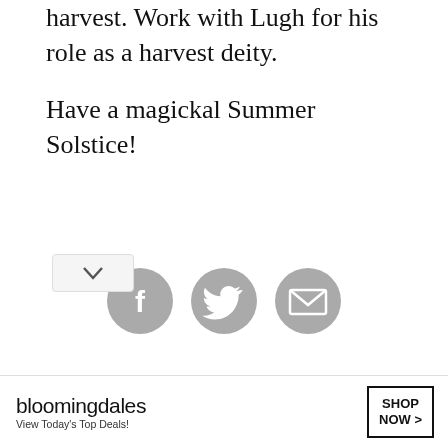harvest. Work with Lugh for his role as a harvest deity.

Have a magickal Summer Solstice!
[Figure (infographic): Three gray circular social share icons: Facebook (f), Twitter (bird), and Email (envelope)]
TAGGED WITH: SUMMER SOLSTICE   LITHA   MIDSUMMER   ...MORE
[Figure (infographic): Advertisement banner for Bloomingdale's: 'View Today's Top Deals!' with SHOP NOW button and image of woman in hat]